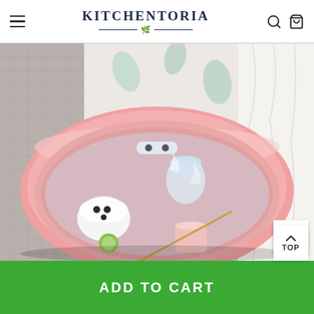KITCHENTORIA
[Figure (photo): A pink oval basin/sink filled with water, containing glass jars, a white container with black dots, a pink cup, and other bathroom/kitchen items. Curtains visible in background.]
TOP